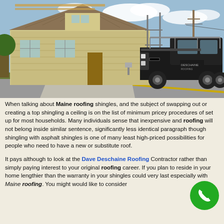[Figure (photo): Photograph of a house under roof construction with scaffolding and building materials visible. A dark-colored Chevrolet pickup truck with a ladder rack is parked in the driveway/street in front of the house. An orange traffic cone is visible near the driveway. Blue sky with clouds in the background.]
When talking about Maine roofing shingles, and the subject of swapping out or creating a top shingling a ceiling is on the list of minimum pricey procedures of set up for most households. Many individuals sense that inexpensive and roofing will not belong inside similar sentence, significantly less identical paragraph though shingling with asphalt shingles is one of many least high-priced possibilities for people who need to have a new or substitute roof.
It pays although to look at the Dave Deschaine Roofing Contractor rather than simply paying interest to your original roofing career. If you plan to reside in your home lengthier than the warranty in your shingles could very last especially with Maine roofing. You might would like to consider